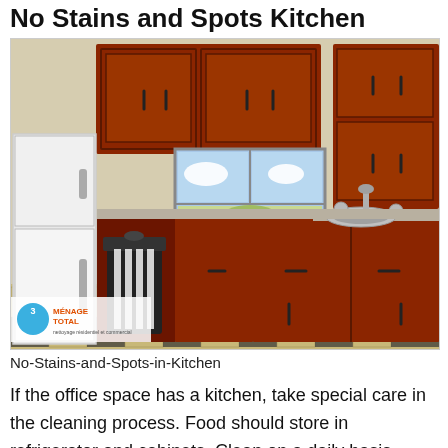No Stains and Spots Kitchen
[Figure (illustration): Cartoon illustration of a kitchen with dark red/brown cabinets, a white refrigerator, window with blue sky and green plant, sink with faucet, and a black and white checkered floor with a trash can. Menage Total logo in bottom left corner.]
No-Stains-and-Spots-in-Kitchen
If the office space has a kitchen, take special care in the cleaning process. Food should store in refrigerator and cabinets. Clean on a daily basis